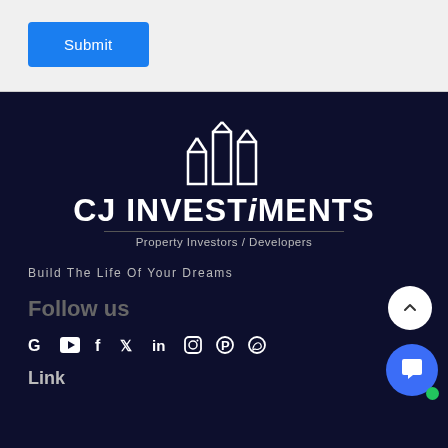Submit
[Figure (logo): CJ Investiments logo with building/bar chart icon, white on dark navy. Brand name 'CJ INVESTiMENTS' with tagline 'Property Investors / Developers']
Build The Life Of Your Dreams
Follow us
Social media icons: Google, YouTube, Facebook, Twitter, LinkedIn, Instagram, Pinterest, WhatsApp
Link